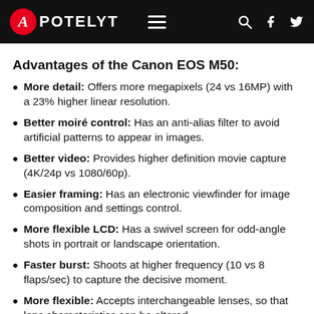APOTELYT
Advantages of the Canon EOS M50:
More detail: Offers more megapixels (24 vs 16MP) with a 23% higher linear resolution.
Better moiré control: Has an anti-alias filter to avoid artificial patterns to appear in images.
Better video: Provides higher definition movie capture (4K/24p vs 1080/60p).
Easier framing: Has an electronic viewfinder for image composition and settings control.
More flexible LCD: Has a swivel screen for odd-angle shots in portrait or landscape orientation.
Faster burst: Shoots at higher frequency (10 vs 8 flaps/sec) to capture the decisive moment.
More flexible: Accepts interchangeable lenses, so that lens characteristics can be altered.
Easier wireless transfer: Supports Bluetooth for image sharing without cables.
More modern: Reflects 2 years and 1 month of technical